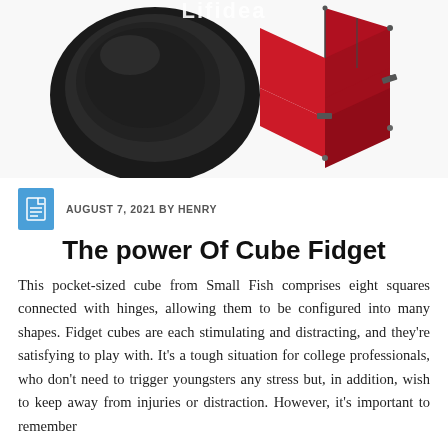[Figure (photo): Product photo showing a red metal infinity cube fidget toy and a black leather case/bag, with a white background and 'Lifidea' text visible at the top]
AUGUST 7, 2021 BY HENRY
The power Of Cube Fidget
This pocket-sized cube from Small Fish comprises eight squares connected with hinges, allowing them to be configured into many shapes. Fidget cubes are each stimulating and distracting, and they're satisfying to play with. It's a tough situation for college professionals, who don't need to trigger youngsters any stress but, in addition, wish to keep away from injuries or distraction. However, it's important to remember